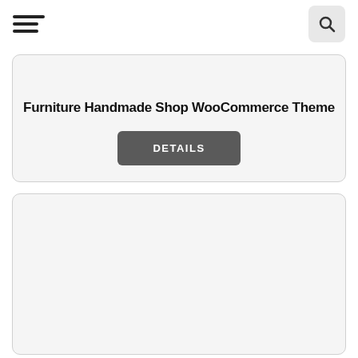hamburger menu | search button
Furniture Handmade Shop WooCommerce Theme
DETAILS
[Figure (other): Empty card / product placeholder box at the bottom of the page]